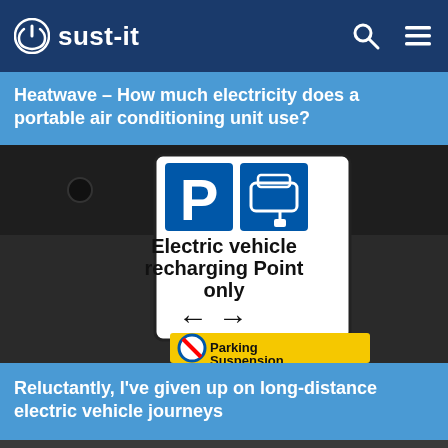sust-it
Heatwave – How much electricity does a portable air conditioning unit use?
[Figure (photo): A street sign showing 'Electric vehicle recharging point only' with parking and directional arrows, and a yellow 'Parking Suspension' sign below]
Reluctantly, I've given up on long-distance electric vehicle journeys
Discounts & Offers »    Repair vs New »